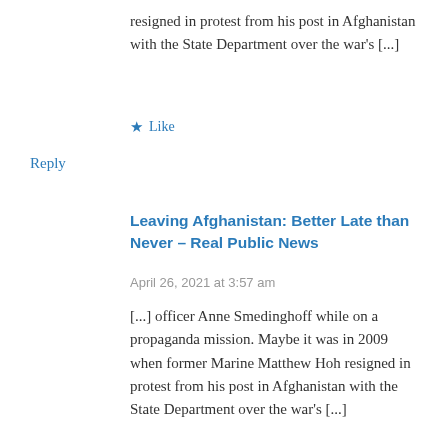resigned in protest from his post in Afghanistan with the State Department over the war's [...]
Like
Reply
Leaving Afghanistan: Better Late than Never – Real Public News
April 26, 2021 at 3:57 am
[...] officer Anne Smedinghoff while on a propaganda mission. Maybe it was in 2009 when former Marine Matthew Hoh resigned in protest from his post in Afghanistan with the State Department over the war's [...]